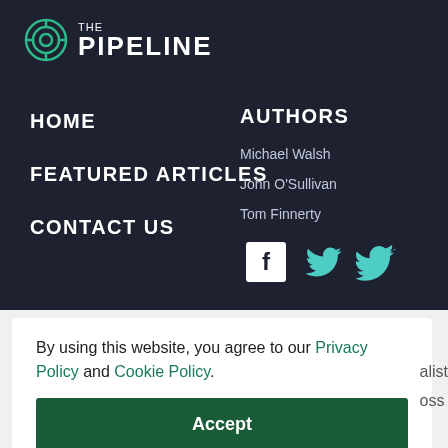[Figure (logo): The Pipeline logo with circular target icon and text THE PIPELINE]
HOME
FEATURED ARTICLES
CONTACT US
AUTHORS
Michael Walsh
John O'Sullivan
Tom Finnerty
[Figure (illustration): Facebook and Twitter social media icons]
By using this website, you agree to our Privacy Policy and Cookie Policy.
Accept